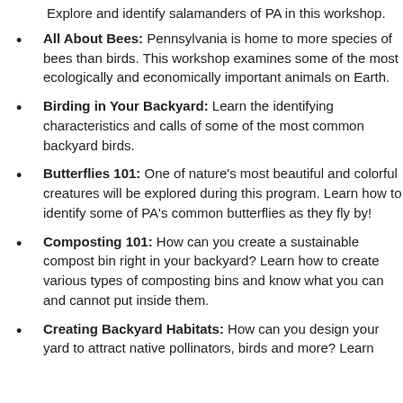Explore and identify salamanders of PA in this workshop.
All About Bees: Pennsylvania is home to more species of bees than birds. This workshop examines some of the most ecologically and economically important animals on Earth.
Birding in Your Backyard: Learn the identifying characteristics and calls of some of the most common backyard birds.
Butterflies 101: One of nature's most beautiful and colorful creatures will be explored during this program. Learn how to identify some of PA's common butterflies as they fly by!
Composting 101: How can you create a sustainable compost bin right in your backyard? Learn how to create various types of composting bins and know what you can and cannot put inside them.
Creating Backyard Habitats: How can you design your yard to attract native pollinators, birds and more? Learn